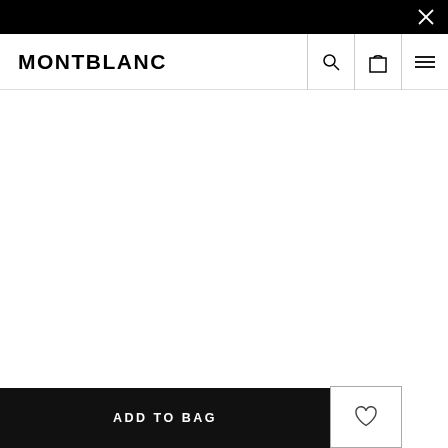MONTBLANC — navigation bar with search, bag, and menu icons
[Figure (screenshot): White empty product image area]
Handcrafted with passion. It takes ... nib and an additional 70 steps to assemble and test a Montblanc fountain pen until it is ...